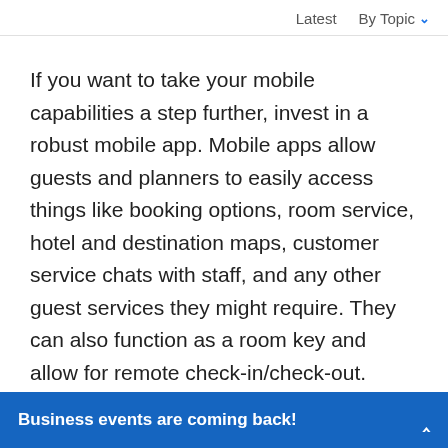Latest   By Topic
If you want to take your mobile capabilities a step further, invest in a robust mobile app. Mobile apps allow guests and planners to easily access things like booking options, room service, hotel and destination maps, customer service chats with staff, and any other guest services they might require. They can also function as a room key and allow for remote check-in/check-out. These apps create a two-way street of communication between the hotel and the guest or planner. The planner can access hotel services when they need them, and you as the hotel can get in touch
Business events are coming back!